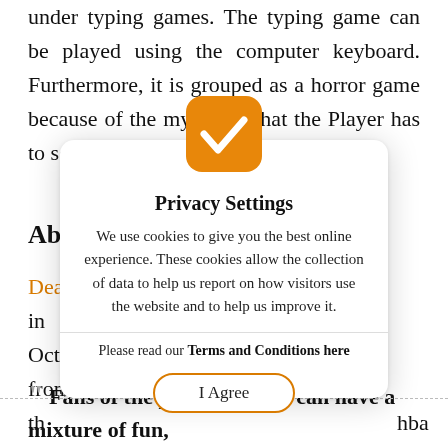under typing games. The typing game can be played using the computer keyboard. Furthermore, it is grouped as a horror game because of the mysteries that the Player has to solve.
Abou
Death ... f in Octobe ... ame from th ... hba and Ta ...
[Figure (screenshot): Privacy Settings modal dialog with orange checkmark icon. Title: 'Privacy Settings'. Body text: 'We use cookies to give you the best online experience. These cookies allow the collection of data to help us report on how visitors use the website and to help us improve it.' Terms line: 'Please read our Terms and Conditions here'. Button: 'I Agree' with orange border.]
“Fans of the popular series can have a mixture of fun,